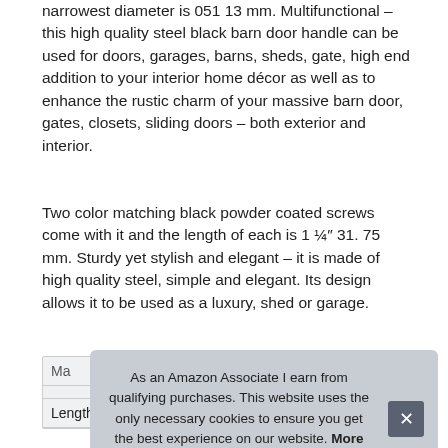narrowest diameter is 051 13 mm. Multifunctional – this high quality steel black barn door handle can be used for doors, garages, barns, sheds, gate, high end addition to your interior home décor as well as to enhance the rustic charm of your massive barn door, gates, closets, sliding doors – both exterior and interior.
Two color matching black powder coated screws come with it and the length of each is 1 ¼″ 31. 75 mm. Sturdy yet stylish and elegant – it is made of high quality steel, simple and elegant. Its design allows it to be used as a luxury, shed or garage.
| Ma |  |
| Length | 10 Inches |
As an Amazon Associate I earn from qualifying purchases. This website uses the only necessary cookies to ensure you get the best experience on our website. More information